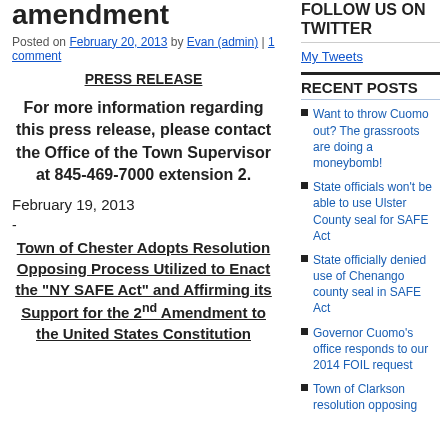amendment
Posted on February 20, 2013 by Evan (admin) | 1 comment
PRESS RELEASE
For more information regarding this press release, please contact the Office of the Town Supervisor at 845-469-7000 extension 2.
February 19, 2013
-
Town of Chester Adopts Resolution Opposing Process Utilized to Enact the "NY SAFE Act" and Affirming its Support for the 2nd Amendment to the United States Constitution
FOLLOW US ON TWITTER
My Tweets
RECENT POSTS
Want to throw Cuomo out? The grassroots are doing a moneybomb!
State officials won't be able to use Ulster County seal for SAFE Act
State officially denied use of Chenango county seal in SAFE Act
Governor Cuomo's office responds to our 2014 FOIL request
Town of Clarkson resolution opposing